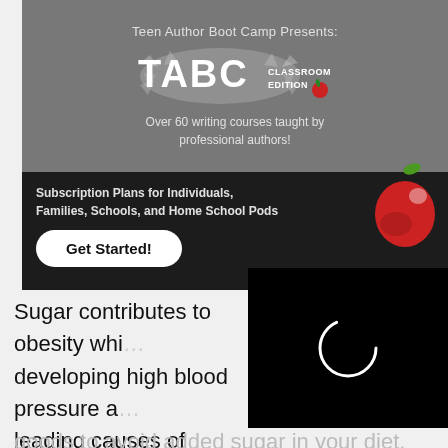[Figure (screenshot): Teen Author Boot Camp Presents: TABC Classroom Edition advertisement banner. Dark grey top section with TABC logo (splat design) and text 'Over 60 writing courses taught by professional authors!'. Black bottom section with text 'Subscription Plans for Individuals, Families, Schools, and Home School Pods', a 'Get Started!' button, and a red apple illustration. A loading spinner overlay (black rectangle with white circle) appears in the lower right.]
Sugar contributes to obesity whi[ch increases the chances of] developing high blood pressure a[nd diabetes, which are two] leading causes of kidney diseas[e.] sugar is often added to foods and drinks that you may not consider sweet. Avoid condiments, breakfast cereals, and white bread which are all sneaky sources of processed sugar. Pay attention to the ingredients when buying packaged goods to avoid added sugar in your diet.